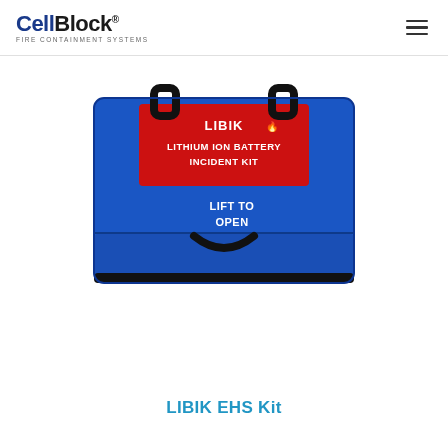CellBlock Fire Containment Systems
[Figure (photo): Blue LIBIK (Lithium Ion Battery Incident Kit) bag with red label on top reading 'LIBIK LITHIUM ION BATTERY INCIDENT KIT' and white text 'LIFT TO OPEN' on the front. The bag has black handles and a black base.]
LIBIK EHS Kit